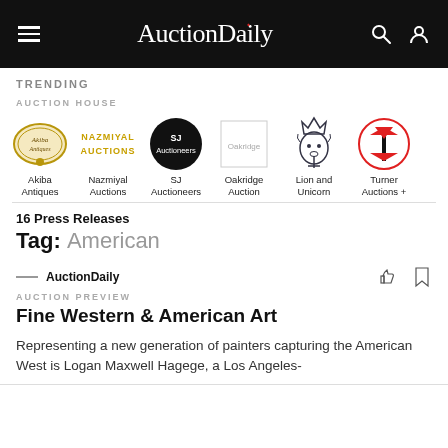AuctionDaily
TRENDING
AUCTION HOUSE
[Figure (logo): Row of auction house logos: Akiba Antiques, Nazmiyal Auctions, SJ Auctioneers, Oakridge Auction, Lion and Unicorn, Turner Auctions +]
16 Press Releases
Tag: American
AuctionDaily
AUCTION PREVIEW
Fine Western & American Art
Representing a new generation of painters capturing the American West is Logan Maxwell Hagege, a Los Angeles-